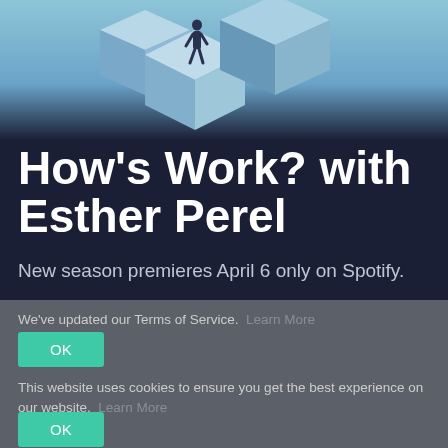[Figure (illustration): Isometric illustration of a person walking through geometric cube structures in blue tones, representing a work/office environment. Used as header image for 'How's Work? with Esther Perel' podcast.]
How's Work? with Esther Perel
New season premieres April 6 only on Spotify.
We've updated our Terms of Service. Learn More
OK
This website uses cookies to ensure you get the best experience on our website. Learn More
OK